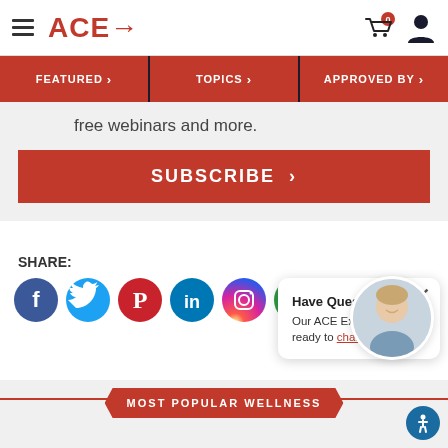ACE→ (navigation header with hamburger menu, cart icon, and user icon)
FEATURED > | TOPICS > | APPROVED BY >
free webinars and more.
SUBSCRIBE >
SHARE:
[Figure (infographic): Social media share icons: Facebook, Twitter, Pinterest, LinkedIn, Instagram, Email]
Have Questions? Our ACE Experts are ready to chat.
[Figure (photo): Avatar photo of a smiling man in a blue polo shirt]
MOST POPULAR WELLNESS